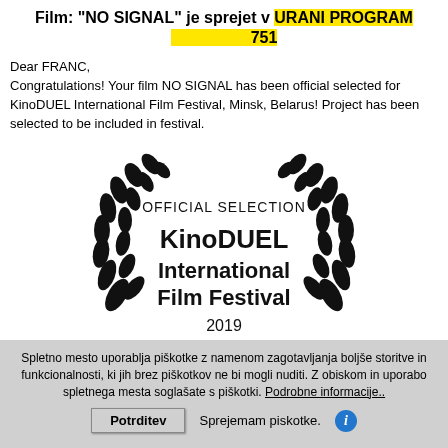Film: "NO SIGNAL" je sprejet v URANI PROGRAM                    751
Dear FRANC,
Congratulations! Your film NO SIGNAL has been official selected for KinoDUEL International Film Festival, Minsk, Belarus! Project has been selected to be included in festival.
[Figure (logo): Official Selection laurel wreath logo for KinoDUEL International Film Festival 2019]
Spletno mesto uporablja piškotke z namenom zagotavljanja boljše storitve in funkcionalnosti, ki jih brez piškotkov ne bi mogli nuditi. Z obiskom in uporabo spletnega mesta soglašate s piškotki. Podrobne informacije..
Potrditev    Sprejemam piskotke.